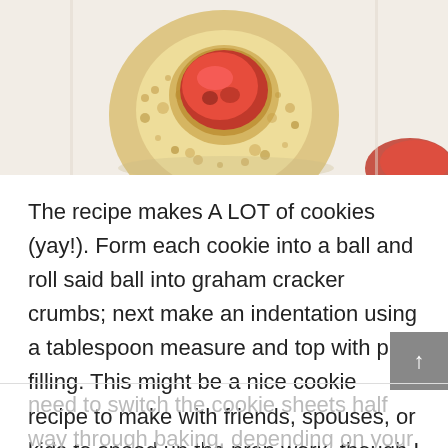[Figure (photo): Close-up photo of a round cookie coated in graham cracker crumbs with a red cherry pie filling indentation in the center, sitting on white parchment paper]
The recipe makes A LOT of cookies (yay!). Form each cookie into a ball and roll said ball into graham cracker crumbs; next make an indentation using a tablespoon measure and top with pie filling. This might be a nice cookie recipe to make with friends, spouses, or kids to speed up the prep work, though I made mine by myself and it doesn't take too long. Baking two cookie sheets at a time is great but you might
need to switch the cookie sheets half way through baking, depending on your oven. The